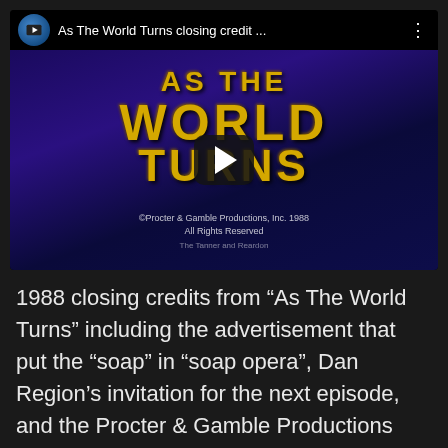[Figure (screenshot): YouTube video thumbnail showing 'As The World Turns closing credit...' with a play button overlay. The thumbnail shows the show title 'AS THE WORLD TURNS' in large gold letters on a dark blue/purple background with copyright text for Procter & Gamble Productions.]
1988 closing credits from “As The World Turns” including the advertisement that put the “soap” in “soap opera”, Dan Region’s invitation for the next episode, and the Procter & Gamble Productions ident. I don’t